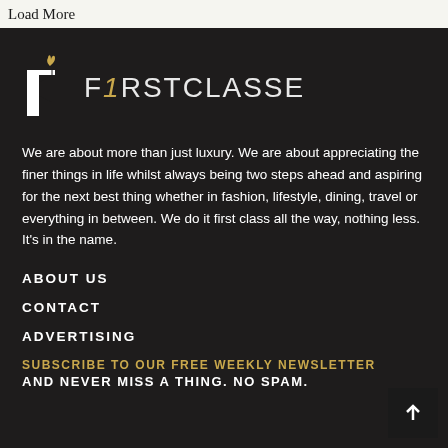Load More
[Figure (logo): FirstClasse logo with stylized candle/flame icon and uppercase text FIRSTCLASSE]
We are about more than just luxury. We are about appreciating the finer things in life whilst always being two steps ahead and aspiring for the next best thing whether in fashion, lifestyle, dining, travel or everything in between. We do it first class all the way, nothing less. It's in the name.
ABOUT US
CONTACT
ADVERTISING
SUBSCRIBE TO OUR FREE WEEKLY NEWSLETTER AND NEVER MISS A THING. NO SPAM.